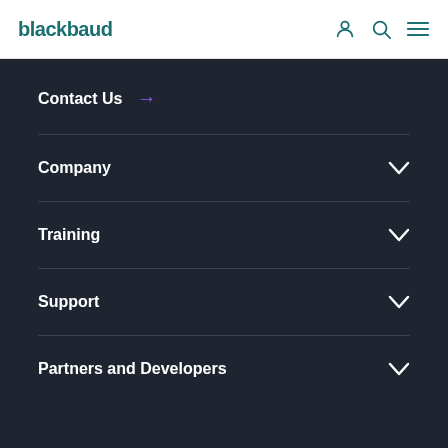blackbaud
Contact Us →
Company
Training
Support
Partners and Developers